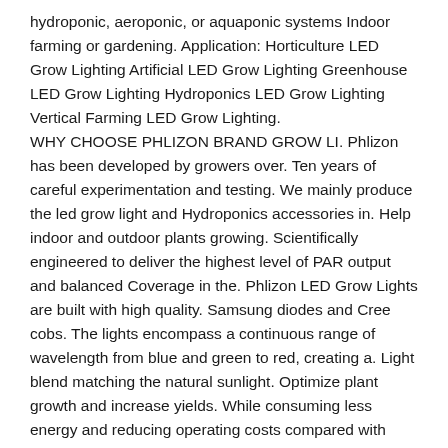hydroponic, aeroponic, or aquaponic systems Indoor farming or gardening. Application: Horticulture LED Grow Lighting Artificial LED Grow Lighting Greenhouse LED Grow Lighting Hydroponics LED Grow Lighting Vertical Farming LED Grow Lighting.
WHY CHOOSE PHLIZON BRAND GROW LI. Phlizon has been developed by growers over. Ten years of careful experimentation and testing. We mainly produce the led grow light and Hydroponics accessories in. Help indoor and outdoor plants growing. Scientifically engineered to deliver the highest level of PAR output and balanced Coverage in the. Phlizon LED Grow Lights are built with high quality. Samsung diodes and Cree cobs. The lights encompass a continuous range of wavelength from blue and green to red, creating a. Light blend matching the natural sunlight. Optimize plant growth and increase yields. While consuming less energy and reducing operating costs compared with traditional horticulture